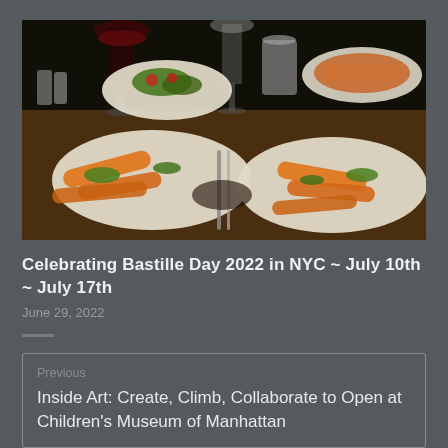[Figure (photo): Dinner table scene with plates of food including orange carrots and green vegetables, wine glasses with red wine, cutlery, and condiments on a wooden table surface, photographed from above at close range.]
Celebrating Bastille Day 2022 in NYC ~ July 10th ~ July 17th
June 29, 2022
Previous
Inside Art: Create, Climb, Collaborate to Open at Children's Museum of Manhattan